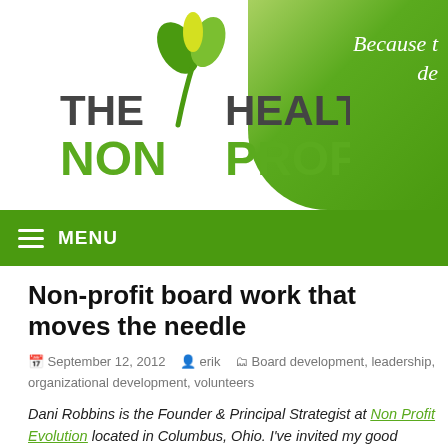[Figure (logo): The Healthy NonProfit logo with green plant/tree icon]
MENU
Non-profit board work that moves the needle
September 12, 2012  erik  Board development, leadership, organizational development, volunteers
Dani Robbins is the Founder & Principal Strategist at Non Profit Evolution located in Columbus, Ohio. I've invited my good friend and fellow non-profit consultant to the first Wednesday of each month about board development related